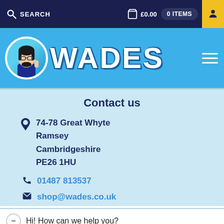SEARCH  £0.00  0 ITEMS
[Figure (logo): Wades logo with mascot cartoon character and large white WADES text on blue banner background]
Contact us
74-78 Great Whyte
Ramsey
Cambridgeshire
PE26 1HU
01487 813537
shop@wades.co.uk
Hi! How can we help you?
Wades is a long established third-generation family o... hin...
Shop powered by 'Retailer' EPOS Software fr... eal Bu... Privacy · Terms
Applications Ltd